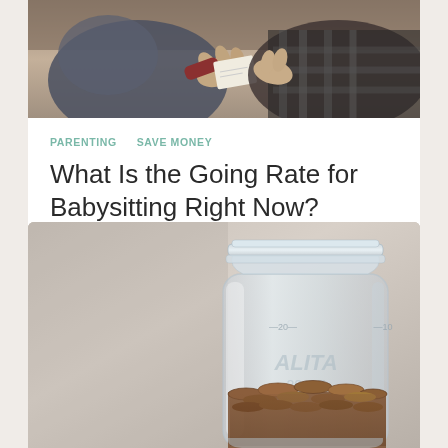[Figure (photo): Two people exchanging money or documents, photographed from above; warm tones with hands visible]
PARENTING  SAVE MONEY
What Is the Going Rate for Babysitting Right Now?
[Figure (photo): A glass mason jar filled with coins (pennies and other coins) on a light gray background]